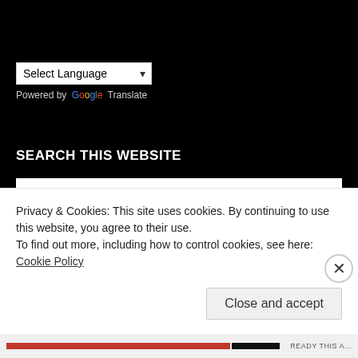[Figure (screenshot): Language selector dropdown showing 'Select Language' with a chevron arrow, and 'Powered by Google Translate' text below.]
SEARCH THIS WEBSITE
[Figure (screenshot): Search input box with placeholder text 'Search …']
IMPORTANT WEBSITES
Privacy & Cookies: This site uses cookies. By continuing to use this website, you agree to their use.
To find out more, including how to control cookies, see here: Cookie Policy
Close and accept